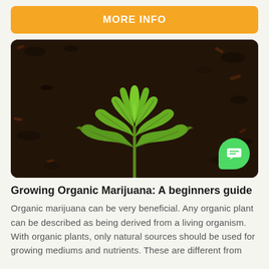MORE INFO
[Figure (photo): A young cannabis seedling with bright green serrated leaves growing in dark moist soil, viewed from above.]
Growing Organic Marijuana: A beginners guide
Organic marijuana can be very beneficial. Any organic plant can be described as being derived from a living organism. With organic plants, only natural sources should be used for growing mediums and nutrients. These are different from